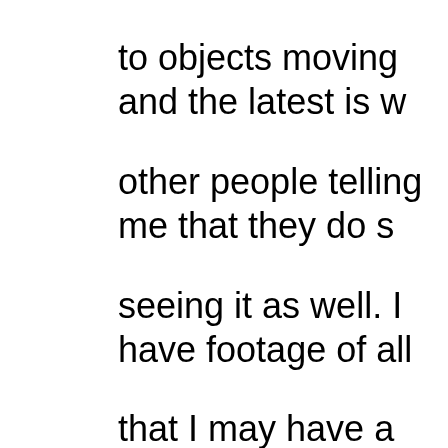to objects moving and the latest is w other people telling me that they do s seeing it as well. I have footage of all that I may have a mental illness beca being told that I need help. If I do and with some other being or UFO please need. I'm the mother of two year old t room and they were both levitated fro bounced on to their bed but continued believe their are several of these bein home and watch us. They scan us is w study us to live as we. Here is what I so many more but wanted to start with one. https://share.icloud.com/photos/0 one is 30 mins long. [url=https://share.icloud.com/ph [/url]